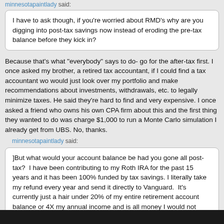minnesotapaintlady said:
I have to ask though, if you're worried about RMD's why are you digging into post-tax savings now instead of eroding the pre-tax balance before they kick in?
Because that's what "everybody" says to do- go for the after-tax first. I once asked my brother, a retired tax accountant, if I could find a tax accountant wo would just look over my portfolio and make recommendations about investments, withdrawals, etc. to legally minimize taxes. He said they're hard to find and very expensive. I once asked a friend who owns his own CPA firm about this and the first thing they wanted to do was charge $1,000 to run a Monte Carlo simulation I already get from UBS. No, thanks.
minnesotapaintlady said:
]But what would your account balance be had you gone all post-tax?  I have been contributing to my Roth IRA for the past 15 years and it has been 100% funded by tax savings. I literally take my refund every year and send it directly to Vanguard.  It's currently just a hair under 20% of my entire retirement account balance or 4X my annual income and is all money I would not have if I had gone post-tax for the rest.